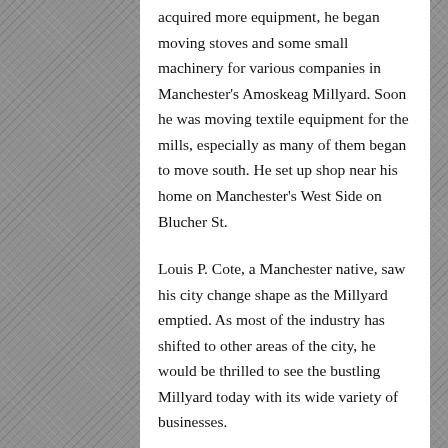acquired more equipment, he began moving stoves and some small machinery for various companies in Manchester's Amoskeag Millyard. Soon he was moving textile equipment for the mills, especially as many of them began to move south. He set up shop near his home on Manchester's West Side on Blucher St.
Louis P. Cote, a Manchester native, saw his city change shape as the Millyard emptied. As most of the industry has shifted to other areas of the city, he would be thrilled to see the bustling Millyard today with its wide variety of businesses.
Louis P.